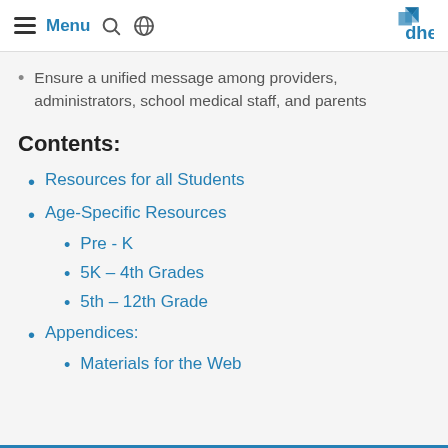Menu [hamburger icon] [search icon] [globe icon] dhec
Ensure a unified message among providers, administrators, school medical staff, and parents
Contents:
Resources for all Students
Age-Specific Resources
Pre - K
5K – 4th Grades
5th – 12th Grade
Appendices:
Materials for the Web